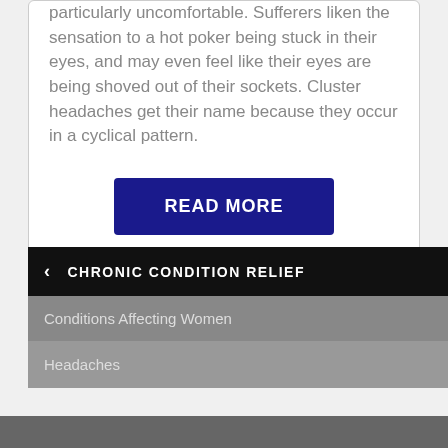particularly uncomfortable. Sufferers liken the sensation to a hot poker being stuck in their eyes, and may even feel like their eyes are being shoved out of their sockets. Cluster headaches get their name because they occur in a cyclical pattern.
READ MORE
CHRONIC CONDITION RELIEF
Conditions Affecting Women
Headaches